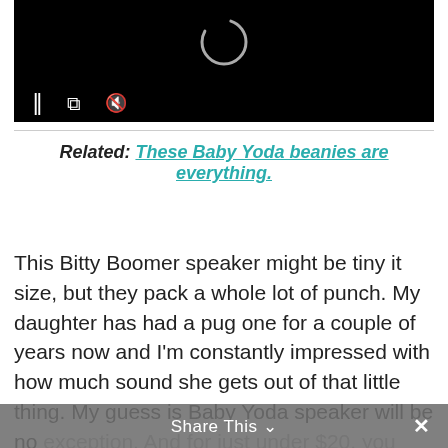[Figure (screenshot): Black video player with loading spinner and controls bar showing pause, expand, and mute icons]
Related: These Baby Yoda beanies are everything.
This Bitty Boomer speaker might be tiny it size, but they pack a whole lot of punch. My daughter has had a pug one for a couple of years now and I'm constantly impressed with how much sound she gets out of that little thing. My guess is Baby Yoda speaker will be no exception. And for just under $20, you can make your little fan's (or um, big fan's) day without breaking the bank.
Share This ∨  ×